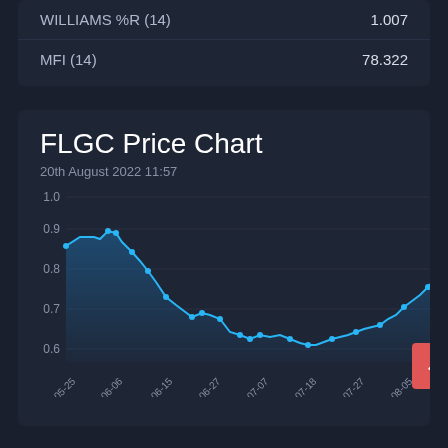| Indicator | Value |
| --- | --- |
| WILLIAMS %R (14) | 1.007 |
| MFI (14) | 78.322 |
FLGC Price Chart
20th August 2022 11:57
[Figure (line-chart): FLGC Price Chart]